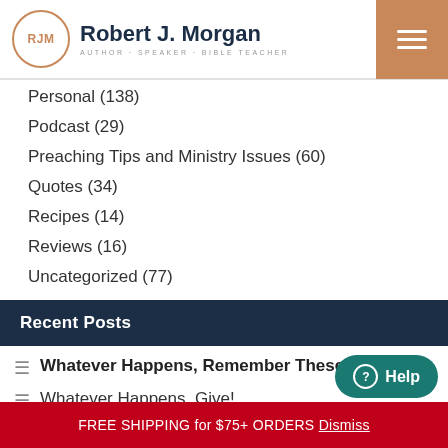RJM | Robert J. Morgan — AUTHOR · SPEAKER · BIBLE TEACHER
Personal (138)
Podcast (29)
Preaching Tips and Ministry Issues (60)
Quotes (34)
Recipes (14)
Reviews (16)
Uncategorized (77)
Recent Posts
Whatever Happens, Remember These Words:
Whatever Happens, Give!
Whatever Happens, Sing at Midnight! (Part B)
FREE SHIPPING for $75+ ORDERS Dismiss